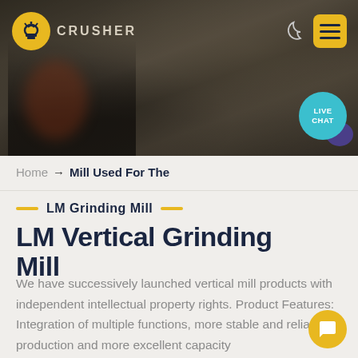[Figure (screenshot): Website header banner showing industrial crusher machinery/quarry site with dark overlay. Logo top-left showing stylized crusher icon with 'CRUSHER' text. Moon icon and yellow hamburger menu button top-right. Teal 'LIVE CHAT' circular button with purple blob, bottom-right of header.]
Home → Mill Used For The
LM Grinding Mill
LM Vertical Grinding Mill
We have successively launched vertical mill products with independent intellectual property rights. Product Features: Integration of multiple functions, more stable and reliable production and more excellent capacity